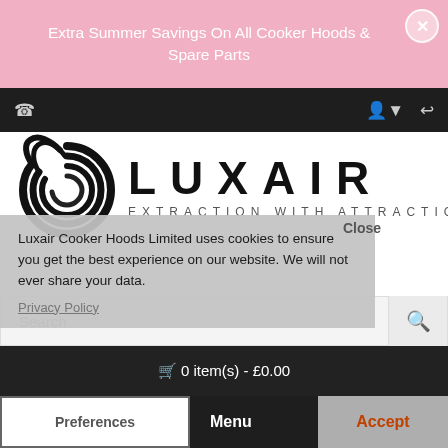Extra Summer Savings On All Cooker Hoods & Spare Parts
[Figure (logo): Luxair Extraction With Attraction logo with swirl icon]
Luxair Cooker Hoods Limited uses cookies to ensure you get the best experience on our website. We will not ever share your data.
Privacy Policy
Search
0 item(s) - £0.00
Preferences
Menu
Accept
Spare Parts & Accessories